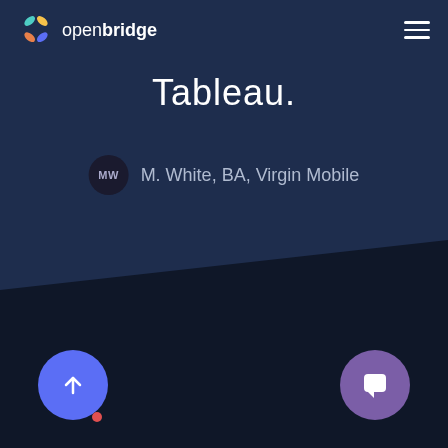openbridge
Tableau.
MW  M. White, BA, Virgin Mobile
[Figure (illustration): Scroll-to-top button: blue circle with upward arrow, with red notification dot]
[Figure (illustration): Chat/messaging button: purple circle with chat bubble icon]